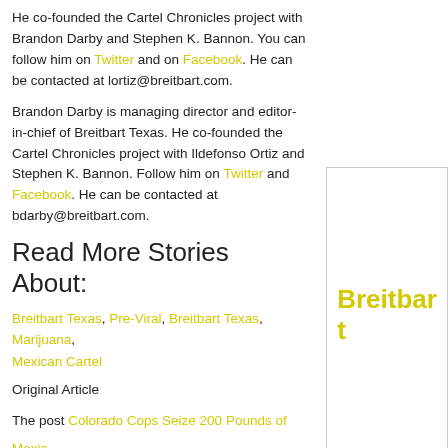He co-founded the Cartel Chronicles project with Brandon Darby and Stephen K. Bannon. You can follow him on Twitter and on Facebook. He can be contacted at lortiz@breitbart.com.
Brandon Darby is managing director and editor-in-chief of Breitbart Texas. He co-founded the Cartel Chronicles project with Ildefonso Ortiz and Stephen K. Bannon. Follow him on Twitter and Facebook. He can be contacted at bdarby@breitbart.com.
Read More Stories About:
Breitbart Texas, Pre-Viral, Breitbart Texas, Marijuana, Mexican Cartel
Original Article
The post Colorado Cops Seize 200 Pounds of Mexican Marijuana appeared first on News Wire Now.
[Figure (logo): Breitbart logo/link in sidebar box]